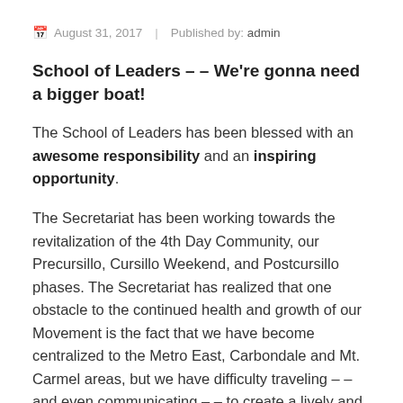August 31, 2017  |  Published by: admin
School of Leaders – – We're gonna need a bigger boat!
The School of Leaders has been blessed with an awesome responsibility and an inspiring opportunity.
The Secretariat has been working towards the revitalization of the 4th Day Community, our Precursillo, Cursillo Weekend, and Postcursillo phases. The Secretariat has realized that one obstacle to the continued health and growth of our Movement is the fact that we have become centralized to the Metro East, Carbondale and Mt. Carmel areas, but we have difficulty traveling – – and even communicating – – to create a lively and enthusiastic Movement throughout the Diocese.